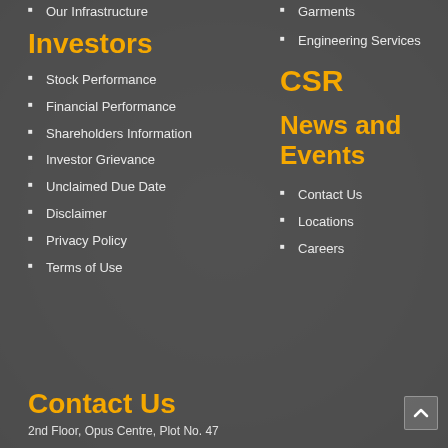Our Infrastructure
Investors
Stock Performance
Financial Performance
Shareholders Information
Investor Grievance
Unclaimed Due Date
Disclaimer
Privacy Policy
Terms of Use
Garments
Engineering Services
CSR
News and Events
Contact Us
Locations
Careers
Contact Us
2nd Floor, Opus Centre, Plot No. 47